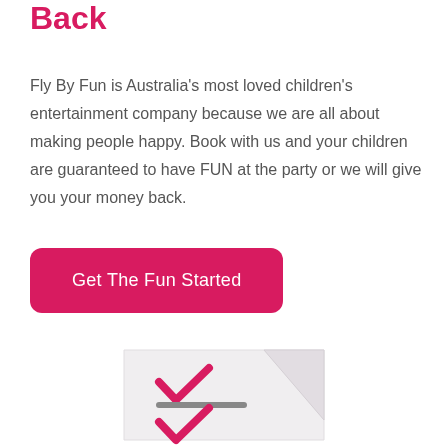Back
Fly By Fun is Australia’s most loved children’s entertainment company because we are all about making people happy. Book with us and your children are guaranteed to have FUN at the party or we will give you your money back.
Get The Fun Started
[Figure (illustration): A flat illustration of an envelope or card with pink checkmarks and a grey strikethrough line, suggesting a checklist or booking confirmation.]